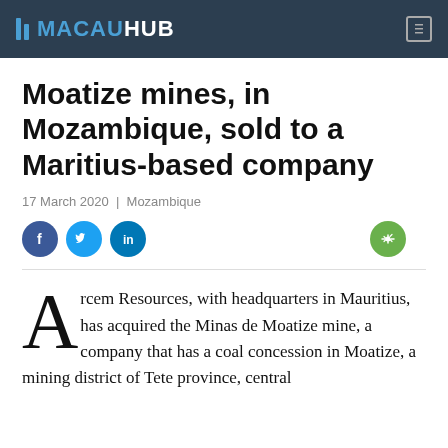MACAUHUB
Moatize mines, in Mozambique, sold to a Maritius-based company
17 March 2020 | Mozambique
Arcem Resources, with headquarters in Mauritius, has acquired the Minas de Moatize mine, a company that has a coal concession in Moatize, a mining district of Tete province, central